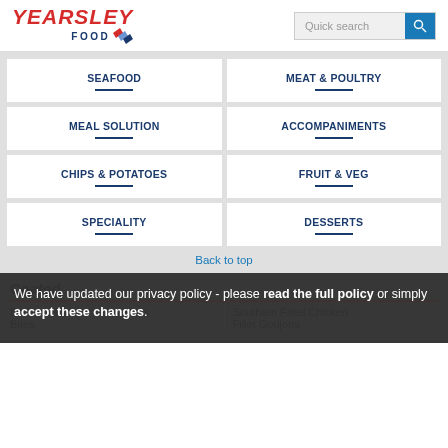[Figure (logo): Yearsley Food logo with red italic text and blue diamonds icon]
[Figure (screenshot): Quick search bar with blue search button]
SEAFOOD
MEAT & POULTRY
MEAL SOLUTION
ACCOMPANIMENTS
CHIPS & POTATOES
FRUIT & VEG
SPECIALITY
DESSERTS
Back to top
Coated
We have updated our privacy policy - please read the full policy or simply accept these changes.
Battered Chicken Fillet Minis Bites
Southern Fried Chicken Fillet Goujons